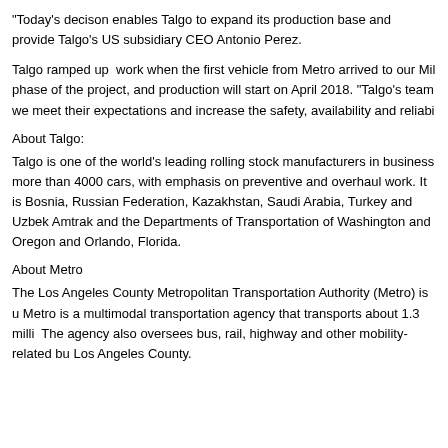"Today's decison enables Talgo to expand its production base and provide Talgo's US subsidiary CEO Antonio Perez.
Talgo ramped up work when the first vehicle from Metro arrived to our Mil phase of the project, and production will start on April 2018. "Talgo's team we meet their expectations and increase the safety, availability and reliabi
About Talgo:
Talgo is one of the world's leading rolling stock manufacturers in business more than 4000 cars, with emphasis on preventive and overhaul work. It is Bosnia, Russian Federation, Kazakhstan, Saudi Arabia, Turkey and Uzbek Amtrak and the Departments of Transportation of Washington and Oregon and Orlando, Florida.
About Metro
The Los Angeles County Metropolitan Transportation Authority (Metro) is u Metro is a multimodal transportation agency that transports about 1.3 milli The agency also oversees bus, rail, highway and other mobility-related bu Los Angeles County.